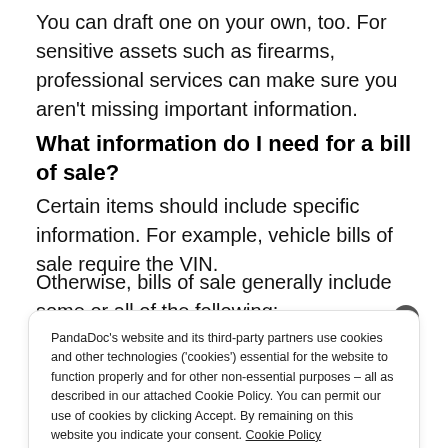You can draft one on your own, too. For sensitive assets such as firearms, professional services can make sure you aren't missing important information.
What information do I need for a bill of sale?
Certain items should include specific information. For example, vehicle bills of sale require the VIN.
Otherwise, bills of sale generally include some or all of the following:
PandaDoc's website and its third-party partners use cookies and other technologies ('cookies') essential for the website to function properly and for other non-essential purposes – all as described in our attached Cookie Policy. You can permit our use of cookies by clicking Accept. By remaining on this website you indicate your consent. Cookie Policy